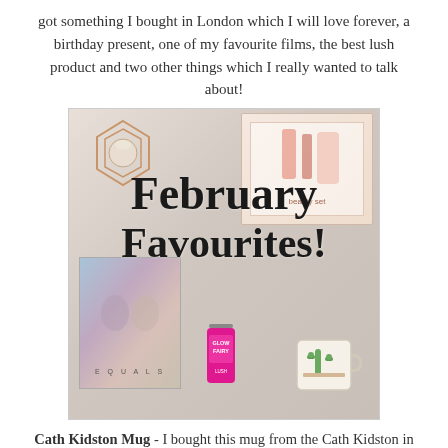got something I bought in London which I will love forever, a birthday present, one of my favourite films, the best lush product and two other things which I really wanted to talk about!
[Figure (photo): A flat-lay photo of various items including a geometric copper candle holder, a pink gift box with beauty products, an 'Equals' movie poster/DVD, a Lush 'Glow Fairy' bottle, and a cactus-themed mug, with 'February Favourites!' text overlaid in a cursive script]
Cath Kidston Mug - I bought this mug from the Cath Kidston in St Pancras Station before we went for our train